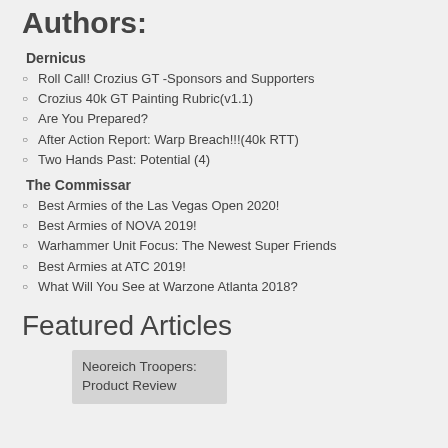Authors:
Dernicus
Roll Call! Crozius GT -Sponsors and Supporters
Crozius 40k GT Painting Rubric(v1.1)
Are You Prepared?
After Action Report: Warp Breach!!!(40k RTT)
Two Hands Past: Potential (4)
The Commissar
Best Armies of the Las Vegas Open 2020!
Best Armies of NOVA 2019!
Warhammer Unit Focus: The Newest Super Friends
Best Armies at ATC 2019!
What Will You See at Warzone Atlanta 2018?
Featured Articles
Neoreich Troopers: Product Review